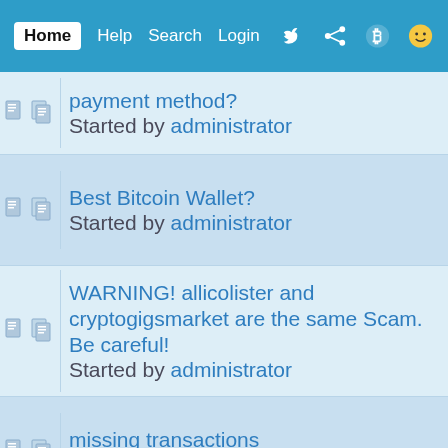Home Help Search Login Register
payment method? Started by administrator
Best Bitcoin Wallet? Started by administrator
WARNING! allicolister and cryptogigsmarket are the same Scam. Be careful! Started by administrator
missing transactions Started by administrator
Steve Wozniak Sues YouTube Over Twitter-Like Bitcoin Scam Started by administrator